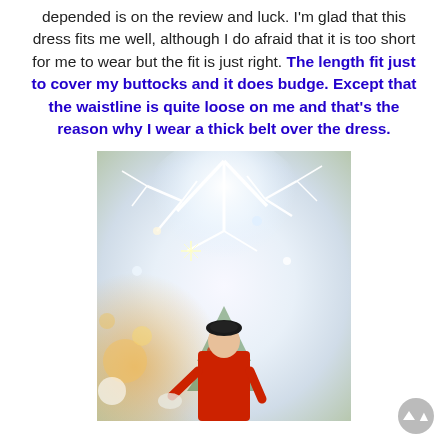depended is on the review and luck. I'm glad that this dress fits me well, although I do afraid that it is too short for me to wear but the fit is just right. The length fit just to cover my buttocks and it does budge. Except that the waistline is quite loose on me and that's the reason why I wear a thick belt over the dress.
[Figure (photo): A woman in a red dress and black beret standing in front of a white illuminated Christmas tree decorated with sparkly white branches and lights, indoors.]